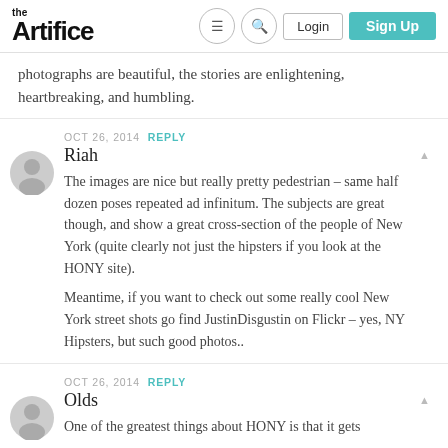the Artifice | Login | Sign Up
photographs are beautiful, the stories are enlightening, heartbreaking, and humbling.
OCT 26, 2014 REPLY
Riah
The images are nice but really pretty pedestrian – same half dozen poses repeated ad infinitum. The subjects are great though, and show a great cross-section of the people of New York (quite clearly not just the hipsters if you look at the HONY site).

Meantime, if you want to check out some really cool New York street shots go find JustinDisgustin on Flickr – yes, NY Hipsters, but such good photos..
OCT 26, 2014 REPLY
Olds
One of the greatest things about HONY is that it gets